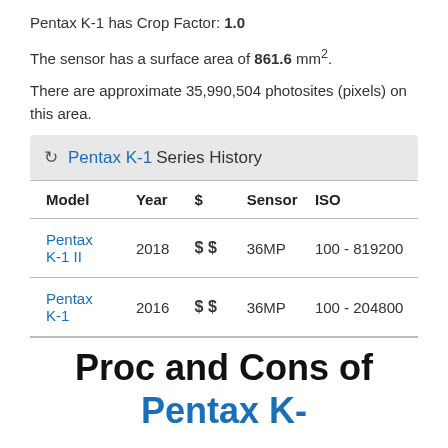Pentax K-1 has Crop Factor: 1.0
The sensor has a surface area of 861.6 mm².
There are approximate 35,990,504 photosites (pixels) on this area.
🕐 Pentax K-1 Series History
| Model | Year | $ | Sensor | ISO |
| --- | --- | --- | --- | --- |
| Pentax K-1 II | 2018 | $ $ | 36MP | 100 - 819200 |
| Pentax K-1 | 2016 | $ $ | 36MP | 100 - 204800 |
Proc and Cons of Pentax K-1